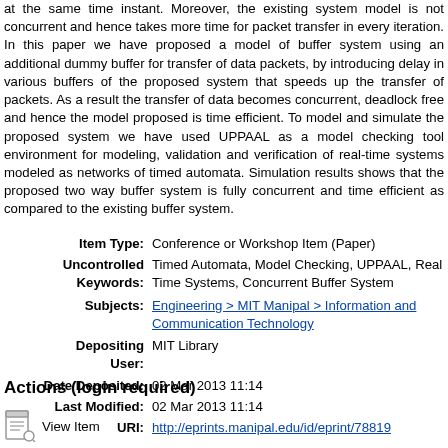at the same time instant. Moreover, the existing system model is not concurrent and hence takes more time for packet transfer in every iteration. In this paper we have proposed a model of buffer system using an additional dummy buffer for transfer of data packets, by introducing delay in various buffers of the proposed system that speeds up the transfer of packets. As a result the transfer of data becomes concurrent, deadlock free and hence the model proposed is time efficient. To model and simulate the proposed system we have used UPPAAL as a model checking tool environment for modeling, validation and verification of real-time systems modeled as networks of timed automata. Simulation results shows that the proposed two way buffer system is fully concurrent and time efficient as compared to the existing buffer system.
| Item Type: | Conference or Workshop Item (Paper) |
| Uncontrolled Keywords: | Timed Automata, Model Checking, UPPAAL, Real Time Systems, Concurrent Buffer System |
| Subjects: | Engineering > MIT Manipal > Information and Communication Technology |
| Depositing User: | MIT Library |
| Date Deposited: | 02 Mar 2013 11:14 |
| Last Modified: | 02 Mar 2013 11:14 |
| URI: | http://eprints.manipal.edu/id/eprint/78819 |
Actions (login required)
View Item